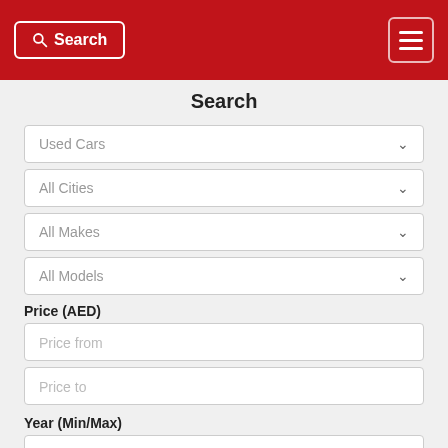Search
Search
Used Cars
All Cities
All Makes
All Models
Price (AED)
Price from
Price to
Year (Min/Max)